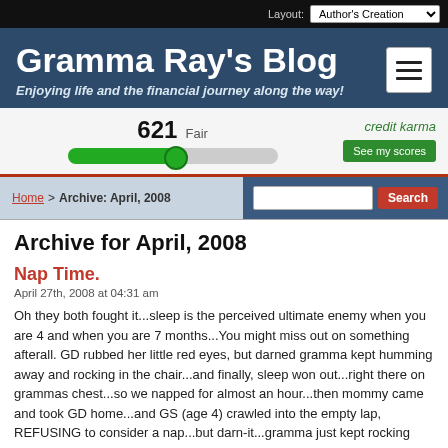Layout: Author's Creation
Gramma Ray's Blog
Enjoying life and the financial journey along the way!
[Figure (infographic): Credit Karma widget showing credit score of 621 Fair with a green progress bar and a 'See my scores' button]
Home > Archive: April, 2008
Archive for April, 2008
Nap Time.
April 27th, 2008 at 04:31 am
Oh they both fought it...sleep is the perceived ultimate enemy when you are 4 and when you are 7 months...You might miss out on something afterall. GD rubbed her little red eyes, but darned gramma kept humming away and rocking in the chair...and finally, sleep won out...right there on grammas chest...so we napped for almost an hour...then mommy came and took GD home...and GS (age 4) crawled into the empty lap, REFUSING to consider a nap...but darn-it...gramma just kept rocking and